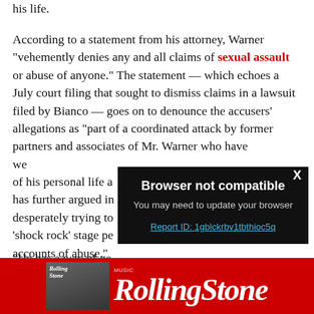his life.
According to a statement from his attorney, Warner "vehemently denies any and all claims of sexual assault or abuse of anyone." The statement — which echoes a July court filing that sought to dismiss claims in a lawsuit filed by Bianco — goes on to denounce the accusers' allegations as "part of a coordinated attack by former partners and associates of Mr. Warner who have weaponized the otherwise mundane details of his personal life a... has further argued in... desperately trying to... 'shock rock' stage pe... accounts of abuse."
"He has a way of ge... didn't tell that man...
[Figure (screenshot): Browser not compatible modal overlay with dark background. Shows title 'Browser not compatible', subtitle 'You may need to update your browser', and a link 'Report ID: 1gblckrbv1tbthioc5q'. Has an X close button in the top-right.]
[Figure (logo): Rolling Stone magazine advertisement banner with red background showing the Rolling Stone logo in white italic serif font, and a small magazine cover image on the left.]